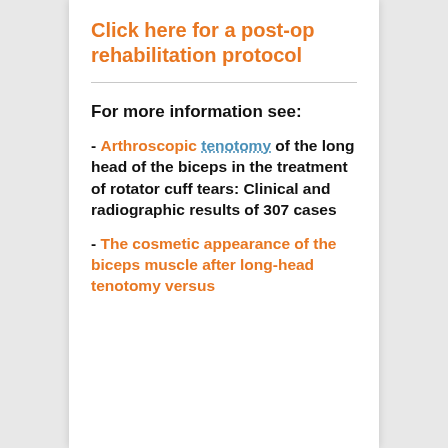Click here for a post-op rehabilitation protocol
For more information see:
- Arthroscopic tenotomy of the long head of the biceps in the treatment of rotator cuff tears: Clinical and radiographic results of 307 cases
- The cosmetic appearance of the biceps muscle after long-head tenotomy versus